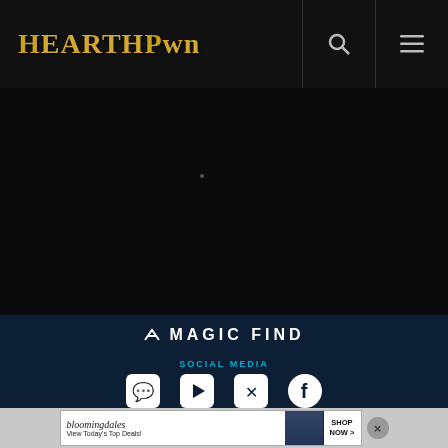HEARTHPWN
[Figure (screenshot): Black content area with a faint loading dot in the center]
[Figure (logo): Magic Find logo - white arrow icon with 'A MAGIC FIND' text in white uppercase letters on dark navy background]
SOCIAL MEDIA
[Figure (illustration): Social media icons: Discord, YouTube, Twitter, Facebook — white icons on dark navy background]
[Figure (screenshot): Bloomingdale's advertisement banner: 'bloomingdales View Today's Top Deals!' with a woman in a hat and 'SHOP NOW >' button]